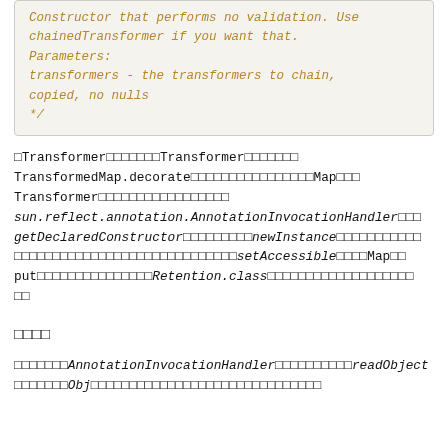Constructor that performs no validation. Use chainedTransformer if you want that. Parameters: transformers - the transformers to chain, copied, no nulls */
□Transformer□□□□□□□Transformer□□□□□□□ TransformedMap.decorate□□□□□□□□□□□□□□□□Map□□□ Transformer□□□□□□□□□□□□□□□□□ sun.reflect.annotation.AnnotationInvocationHandler□□□ getDeclaredConstructor□□□□□□□□□newInstance□□□□□□□□□□□ □□□□□□□□□□□□□□□□□□□□□□□□□□□□□setAccessible□□□□Map□□ put□□□□□□□□□□□□□□□Retention.class□□□□□□□□□□□□□□□□□□□ □□
□□□□
□□□□□□□AnnotationInvocationHandler□□□□□□□□□□readObject □□□□□□□Obj...